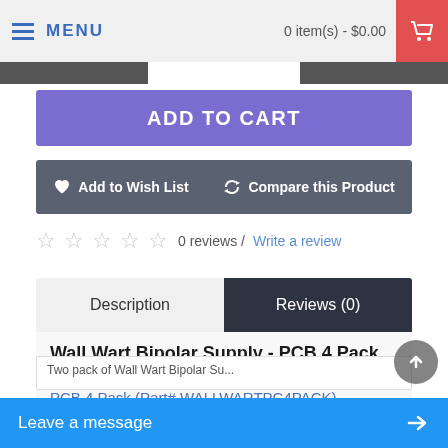MENU   0 item(s) - $0.00
ADD TO CART
Add to Wish List   Compare this Product
0 reviews / Write a review
Description   Reviews (0)
Wall Wart Bipolar Supply - PCB 4 Pack
view project
PCB 4 Pack  (Part# WALLWARTPC4PACK)
Size: 4.3 x 2.2 in.
Two pack of Wall Wart Bipolar Su...
Leave a message